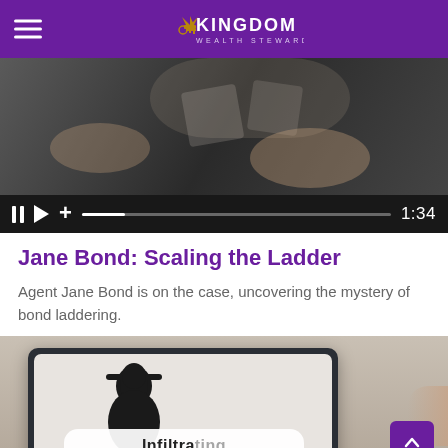Kingdom Wealth Stewards
[Figure (screenshot): Video player showing hands holding letter blocks, with playback controls showing pause, play, plus icons, a progress bar, and timestamp 1:34]
Jane Bond: Scaling the Ladder
Agent Jane Bond is on the case, uncovering the mystery of bond laddering.
[Figure (screenshot): Second video thumbnail showing a tablet with a silhouette figure and partial text 'Infiltrating' on a rounded white banner, with a purple scroll-to-top button]